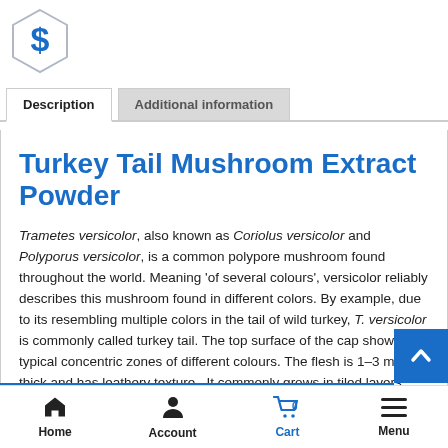[Figure (logo): Blue hexagon logo with dollar sign]
Description | Additional information (tabs)
Turkey Tail Mushroom Extract Powder
Trametes versicolor, also known as Coriolus versicolor and Polyporus versicolor, is a common polypore mushroom found throughout the world. Meaning 'of several colours', versicolor reliably describes this mushroom found in different colors. By example, due to its resembling multiple colors in the tail of wild turkey, T. versicolor is commonly called turkey tail. The top surface of the cap shows typical concentric zones of different colours. The flesh is 1–3 mm thick and has leathery texture. It commonly grows in tiled layers. The cap is rust-brown or darker brown, sometimes with blackish zones.
Home | Account | Cart 0 | Menu